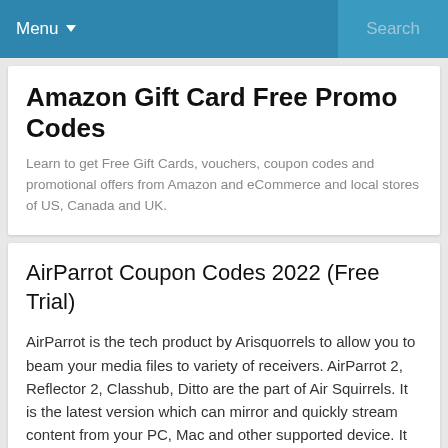Menu  Search
Amazon Gift Card Free Promo Codes
Learn to get Free Gift Cards, vouchers, coupon codes and promotional offers from Amazon and eCommerce and local stores of US, Canada and UK.
AirParrot Coupon Codes 2022 (Free Trial)
AirParrot is the tech product by Arisquorrels to allow you to beam your media files to variety of receivers. AirParrot 2, Reflector 2, Classhub, Ditto are the part of Air Squirrels. It is the latest version which can mirror and quickly stream content from your PC, Mac and other supported device. It works with numerous receivers such as Reflector, Apple TV, Roku and Chromecast.
Top rated AirParrot Coupons and Codes